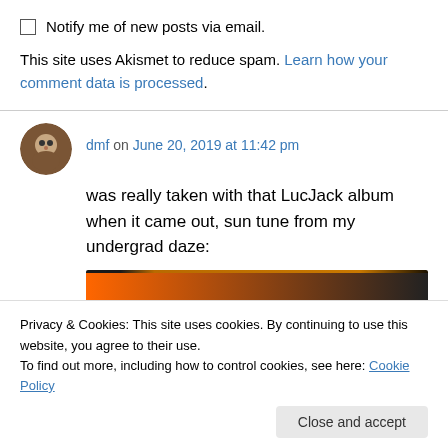Notify me of new posts via email.
This site uses Akismet to reduce spam. Learn how your comment data is processed.
dmf on June 20, 2019 at 11:42 pm
was really taken with that LucJack album when it came out, sun tune from my undergrad daze:
[Figure (photo): Embedded media thumbnail showing a cartoon panda character against an orange/brown background]
Privacy & Cookies: This site uses cookies. By continuing to use this website, you agree to their use.
To find out more, including how to control cookies, see here: Cookie Policy